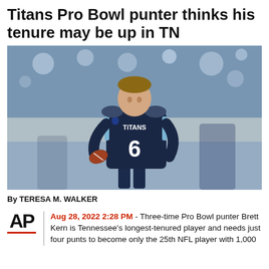Titans Pro Bowl punter thinks his tenure may be up in TN
[Figure (photo): Tennessee Titans punter Brett Kern wearing navy blue Titans #6 jersey, holding a football, on a stadium field during warmups.]
By TERESA M. WALKER
Aug 28, 2022 2:28 PM - Three-time Pro Bowl punter Brett Kern is Tennessee's longest-tenured player and needs just four punts to become only the 25th NFL player with 1,000